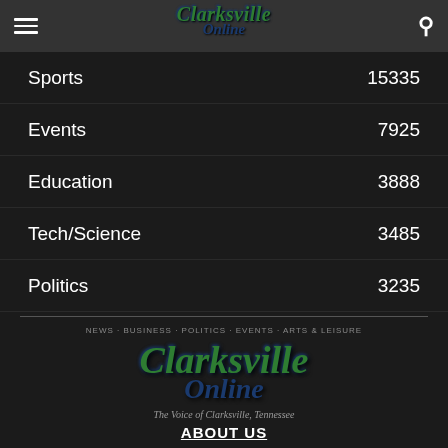Clarksville Online
Sports 15335
Events 7925
Education 3888
Tech/Science 3485
Politics 3235
[Figure (logo): Clarksville Online logo with tagline 'The Voice of Clarksville, Tennessee' and navigation links NEWS · BUSINESS · POLITICS · EVENTS · ARTS & LEISURE]
ABOUT US